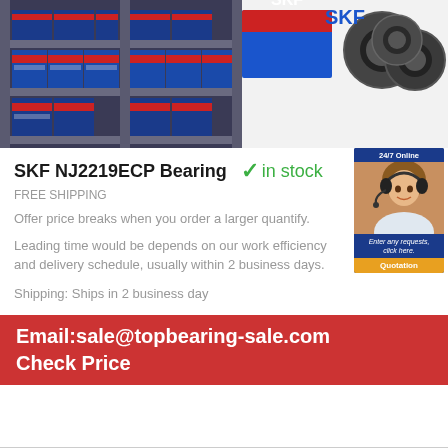[Figure (photo): Warehouse shelf with SKF bearing boxes in red and blue packaging, and SKF branded bearings on a white background with the SKF logo in blue.]
SKF NJ2219ECP Bearing  ✓ in stock
FREE SHIPPING
Offer price breaks when you order a larger quantify.
Leading time would be depends on our work efficiency and delivery schedule, usually within 2 business days.
Shipping: Ships in 2 business day
Email:sale@topbearing-sale.com
Check Price